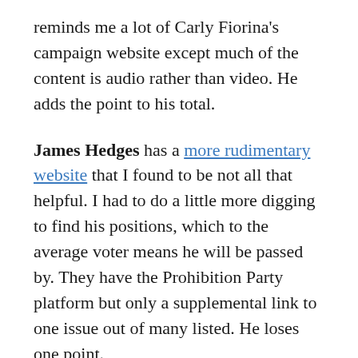reminds me a lot of Carly Fiorina's campaign website except much of the content is audio rather than video. He adds the point to his total.
James Hedges has a more rudimentary website that I found to be not all that helpful. I had to do a little more digging to find his positions, which to the average voter means he will be passed by. They have the Prohibition Party platform but only a supplemental link to one issue out of many listed. He loses one point.
With a philosophy of a modern “front porch” campaign, I found the website of Tom Hoefling to be just okay. However, he is very active on